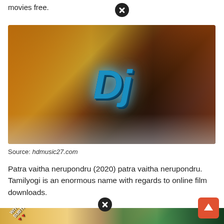movies free.
[Figure (photo): Movie poster for 'DJ' (Duvvada Jagannadham) showing actors, action scenes, and the stylized blue 'DJ' logo on a background of fire, explosions, and smoke.]
Source: hdmusic27.com
Patra vaitha nerupondru (2020) patra vaitha nerupondru. Tamilyogi is an enormous name with regards to online film downloads.
[Figure (photo): Partial movie poster showing actors' faces with 'WITH SUBTITLES' text diagonally on the left side.]